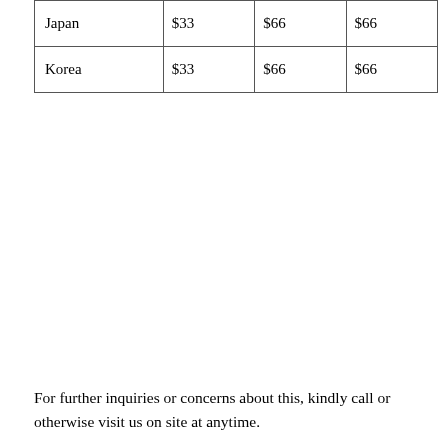| Japan | $33 | $66 | $66 |
| Korea | $33 | $66 | $66 |
For further inquiries or concerns about this, kindly call or otherwise visit us on site at anytime.